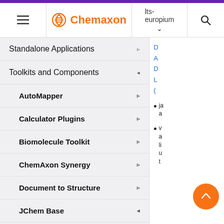Chemaxon — lts-europium
Standalone Applications
Toolkits and Components
AutoMapper
Calculator Plugins
Biomolecule Toolkit
ChemAxon Synergy
Document to Structure
JChem Base
JChem Base Administration
D
A
D
L
(
ja
a
v
a
li
u
t